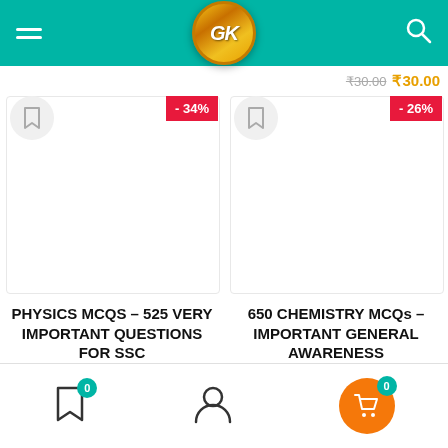[Figure (screenshot): App header with teal background, hamburger menu on left, GK logo in center, search icon on right]
₹30.00  ₹30.00
[Figure (other): Product card with -34% badge, bookmark icon, product image area for PHYSICS MCQS]
[Figure (other): Product card with -26% badge, bookmark icon, product image area for 650 CHEMISTRY MCQs]
PHYSICS MCQS – 525 VERY IMPORTANT QUESTIONS FOR SSC
650 CHEMISTRY MCQs – IMPORTANT GENERAL AWARENESS
[Figure (screenshot): Bottom navigation bar with bookmark (0), user profile, and cart (0) icons]